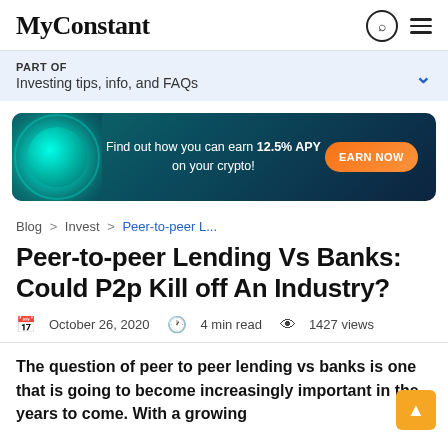MyConstant
PART OF
Investing tips, info, and FAQs
[Figure (infographic): Ad banner: Find out how you can earn 12.5% APY on your crypto! EARN NOW button, teal/dark blue background with orb graphic.]
Blog > Invest > Peer-to-peer L...
Peer-to-peer Lending Vs Banks: Could P2p Kill off An Industry?
October 26, 2020   4 min read   1427 views
The question of peer to peer lending vs banks is one that is going to become increasingly important in the years to come. With a growing